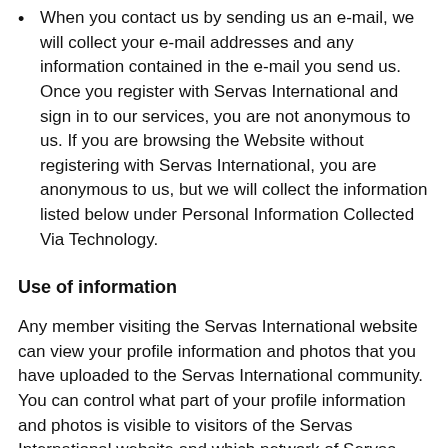When you contact us by sending us an e-mail, we will collect your e-mail addresses and any information contained in the e-mail you send us. Once you register with Servas International and sign in to our services, you are not anonymous to us. If you are browsing the Website without registering with Servas International, you are anonymous to us, but we will collect the information listed below under Personal Information Collected Via Technology.
Use of information
Any member visiting the Servas International website can view your profile information and photos that you have uploaded to the Servas International community. You can control what part of your profile information and photos is visible to visitors of the Servas International website and which network of Servas International members can see what information. To provide you with some of the features that the Servas International community offers, we also